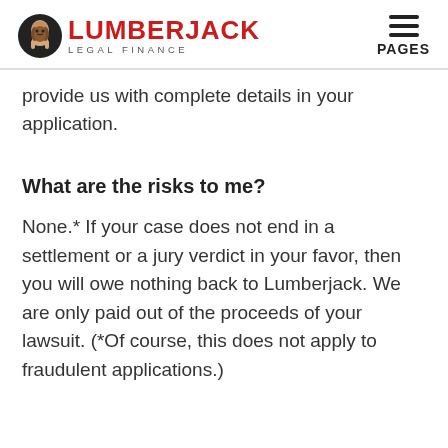LUMBERJACK LEGAL FINANCE | PAGES
provide us with complete details in your application.
What are the risks to me?
None.* If your case does not end in a settlement or a jury verdict in your favor, then you will owe nothing back to Lumberjack. We are only paid out of the proceeds of your lawsuit. (*Of course, this does not apply to fraudulent applications.)